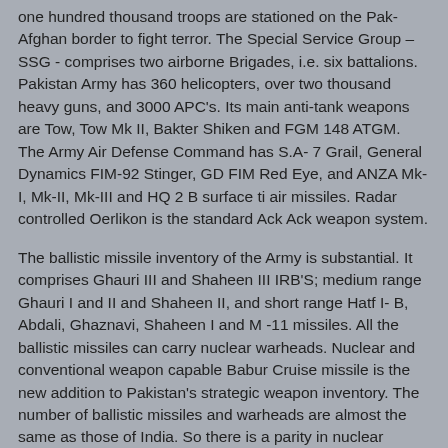one hundred thousand troops are stationed on the Pak-Afghan border to fight terror. The Special Service Group – SSG - comprises two airborne Brigades, i.e. six battalions. Pakistan Army has 360 helicopters, over two thousand heavy guns, and 3000 APC's. Its main anti-tank weapons are Tow, Tow Mk II, Bakter Shiken and FGM 148 ATGM. The Army Air Defense Command has S.A- 7 Grail, General Dynamics FIM-92 Stinger, GD FIM Red Eye, and ANZA Mk-I, Mk-II, Mk-III and HQ 2 B surface ti air missiles. Radar controlled Oerlikon is the standard Ack Ack weapon system.
The ballistic missile inventory of the Army is substantial. It comprises Ghauri III and Shaheen III IRB'S; medium range Ghauri I and II and Shaheen II, and short range Hatf I- B, Abdali, Ghaznavi, Shaheen I and M -11 missiles. All the ballistic missiles can carry nuclear warheads. Nuclear and conventional weapon capable Babur Cruise missile is the new addition to Pakistan's strategic weapon inventory. The number of ballistic missiles and warheads are almost the same as those of India. So there is a parity in nuclear weapons, which is a deterrent.